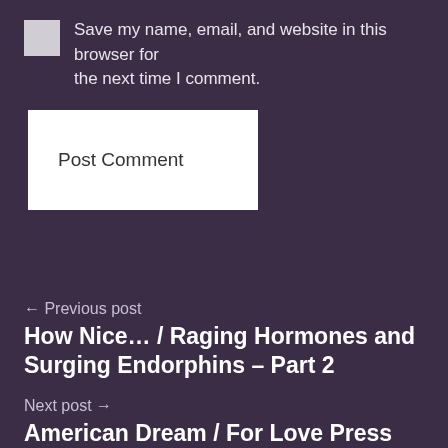Save my name, email, and website in this browser for the next time I comment.
[Figure (other): Post Comment button — white rectangle button]
← Previous post
How Nice… / Raging Hormones and Surging Endorphins – Part 2
Next post →
American Dream / For Love Press